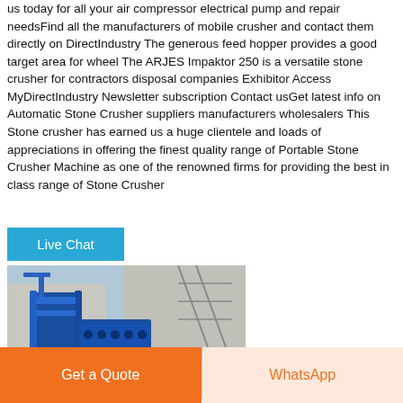us today for all your air compressor electrical pump and repair needsFind all the manufacturers of mobile crusher and contact them directly on DirectIndustry The generous feed hopper provides a good target area for wheel The ARJES Impaktor 250 is a versatile stone crusher for contractors disposal companies Exhibitor Access MyDirectIndustry Newsletter subscription Contact usGet latest info on Automatic Stone Crusher suppliers manufacturers wholesalers This Stone crusher has earned us a huge clientele and loads of appreciations in offering the finest quality range of Portable Stone Crusher Machine as one of the renowned firms for providing the best in class range of Stone Crusher
[Figure (other): Cyan/teal Live Chat button]
[Figure (photo): Photo of a blue industrial stone crusher machine in an outdoor industrial setting]
[Figure (other): Orange Get a Quote button and WhatsApp button at the bottom of the page]